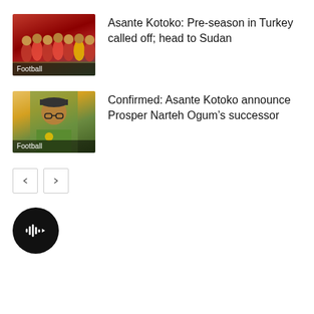[Figure (photo): Football team photo showing players in red jerseys with label 'Football']
Asante Kotoko: Pre-season in Turkey called off; head to Sudan
[Figure (photo): Man in green jacket and cap with label 'Football']
Confirmed: Asante Kotoko announce Prosper Narteh Ogum’s successor
[Figure (other): Pagination controls with left and right arrow buttons]
[Figure (other): Black circular audio/play button with waveform icon]